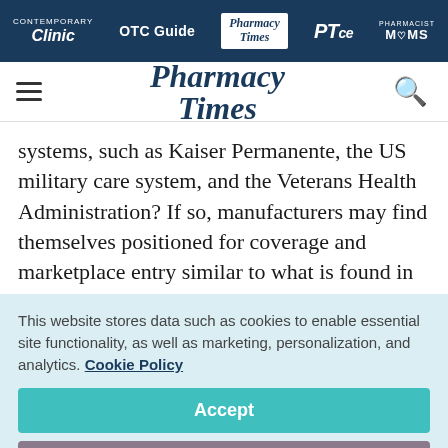Clinic | OTC Guide | Pharmacy Times | PTce | Pharmacist MOMS
[Figure (logo): Pharmacy Times logo with hamburger menu and search icon]
systems, such as Kaiser Permanente, the US military care system, and the Veterans Health Administration? If so, manufacturers may find themselves positioned for coverage and marketplace entry similar to what is found in
This website stores data such as cookies to enable essential site functionality, as well as marketing, personalization, and analytics. Cookie Policy
Accept
Deny